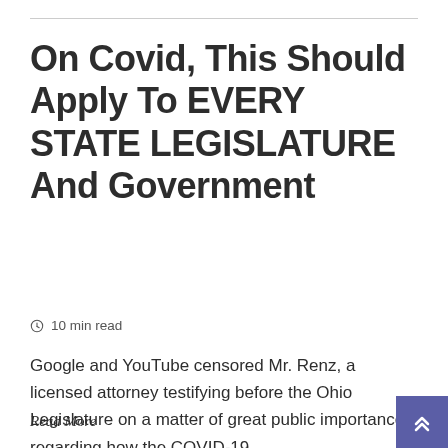On Covid, This Should Apply To EVERY STATE LEGISLATURE And Government
🕐 10 min read
Google and YouTube censored Mr. Renz, a licensed attorney testifying before the Ohio Legislature on a matter of great public importance regarding how the COVID-19
Read More